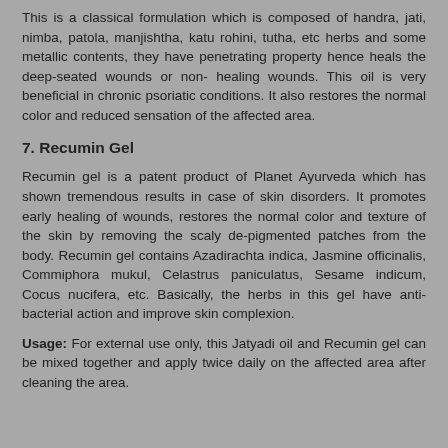This is a classical formulation which is composed of handra, jati, nimba, patola, manjishtha, katu rohini, tutha, etc herbs and some metallic contents, they have penetrating property hence heals the deep-seated wounds or non-healing wounds. This oil is very beneficial in chronic psoriatic conditions. It also restores the normal color and reduced sensation of the affected area.
7. Recumin Gel
Recumin gel is a patent product of Planet Ayurveda which has shown tremendous results in case of skin disorders. It promotes early healing of wounds, restores the normal color and texture of the skin by removing the scaly de-pigmented patches from the body. Recumin gel contains Azadirachta indica, Jasmine officinalis, Commiphora mukul, Celastrus paniculatus, Sesame indicum, Cocus nucifera, etc. Basically, the herbs in this gel have anti-bacterial action and improve skin complexion.
Usage: For external use only, this Jatyadi oil and Recumin gel can be mixed together and apply twice daily on the affected area after cleaning the area.